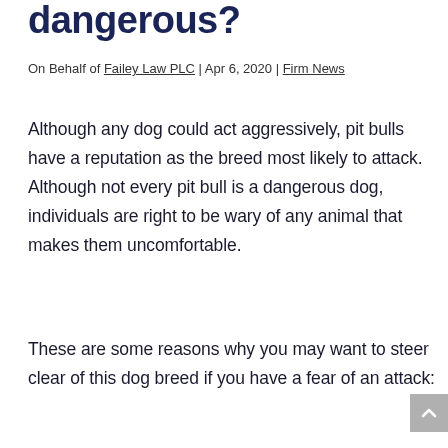dangerous?
On Behalf of Failey Law PLC | Apr 6, 2020 | Firm News
Although any dog could act aggressively, pit bulls have a reputation as the breed most likely to attack. Although not every pit bull is a dangerous dog, individuals are right to be wary of any animal that makes them uncomfortable.
These are some reasons why you may want to steer clear of this dog breed if you have a fear of an attack: